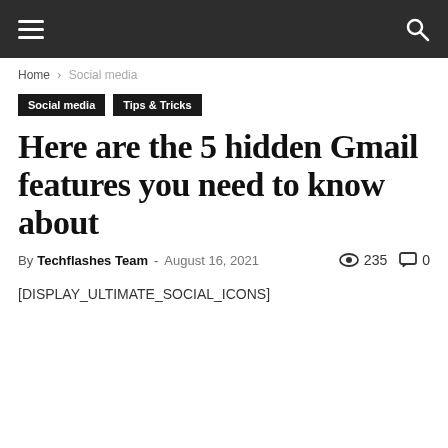Navigation bar with hamburger menu and search icon
Home › Social media
Social media  Tips & Tricks
Here are the 5 hidden Gmail features you need to know about
By Techflashes Team - August 16, 2021  235  0
[DISPLAY_ULTIMATE_SOCIAL_ICONS]